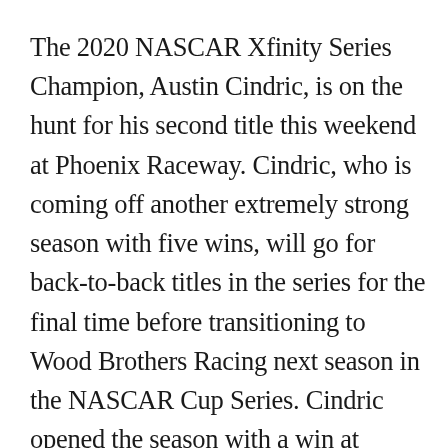The 2020 NASCAR Xfinity Series Champion, Austin Cindric, is on the hunt for his second title this weekend at Phoenix Raceway. Cindric, who is coming off another extremely strong season with five wins, will go for back-to-back titles in the series for the final time before transitioning to Wood Brothers Racing next season in the NASCAR Cup Series. Cindric opened the season with a win at Daytona International Speedway, punching his ticket to the Playoffs from the start of the season. He went on to win four more times. If Cindric earns his second title this weekend he will be one of the...